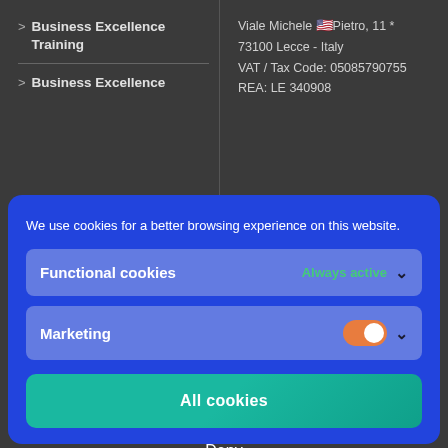> Business Excellence Training
Viale Michele 🇺🇸 Pietro, 11 *
73100 Lecce - Italy
VAT / Tax Code: 05085790755
REA: LE 340908
> Business Excellence
We use cookies for a better browsing experience on this website.
Functional cookies
Always active
Marketing
All cookies
Deny
Save pre…
How can we help you?